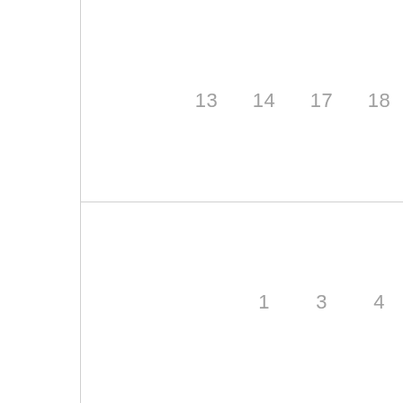[Figure (other): Partial table or chart showing two rows of numbers. Top section shows numbers: 13, 14, 17, 18, 18. Bottom section shows numbers: 1, 3, 4, 4. The page is divided by a horizontal line and a vertical line on the left side, creating a grid-like layout.]